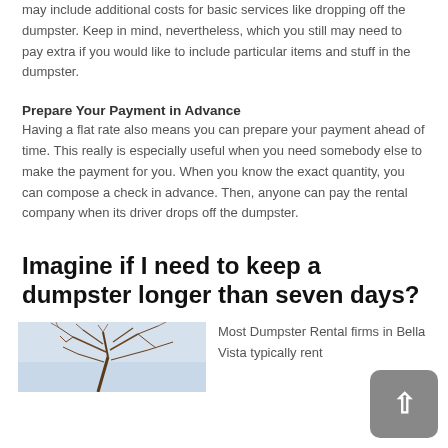may include additional costs for basic services like dropping off the dumpster. Keep in mind, nevertheless, which you still may need to pay extra if you would like to include particular items and stuff in the dumpster.
Prepare Your Payment in Advance
Having a flat rate also means you can prepare your payment ahead of time. This really is especially useful when you need somebody else to make the payment for you. When you know the exact quantity, you can compose a check in advance. Then, anyone can pay the rental company when its driver drops off the dumpster.
Imagine if I need to keep a dumpster longer than seven days?
[Figure (photo): Photo of bare winter tree branches against a light blue/grey sky]
Most Dumpster Rental firms in Bella Vista typically rent